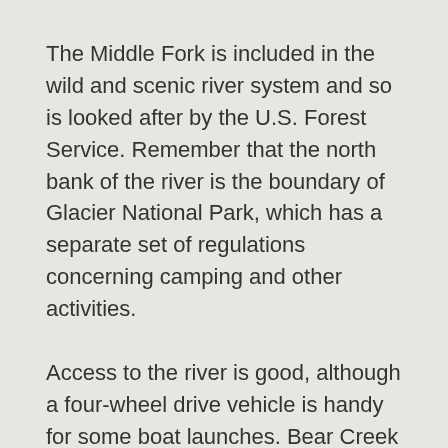The Middle Fork is included in the wild and scenic river system and so is looked after by the U.S. Forest Service. Remember that the north bank of the river is the boundary of Glacier National Park, which has a separate set of regulations concerning camping and other activities.
Access to the river is good, although a four-wheel drive vehicle is handy for some boat launches. Bear Creek is the highest access point along Highway 2. Below that is a rough, sandy access by the bridge at Walton. Paola Creek access is downstream, followed by Cascadilla Creek access, Moccasin Creek